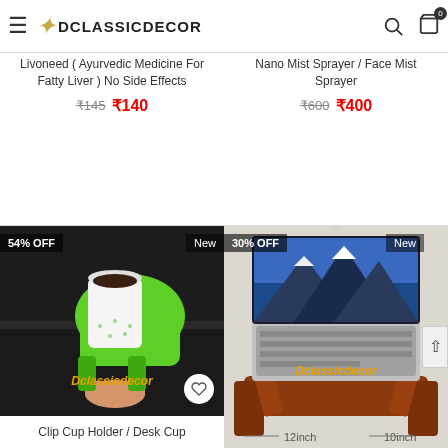DCLASSICDECOR
Livoneed ( Ayurvedic Medicine For Fatty Liver ) No Side Effects
₹145 ₹140
Nano Mist Sprayer / Face Mist Sprayer
₹600 ₹400
[Figure (photo): Green clip-on cup holder attached to desk edge holding white coffee cup, with 54% OFF and New badges]
Clip Cup Holder / Desk Cup
[Figure (photo): Laptop on a wooden stand/riser showing mountain wallpaper, with 30% OFF and New badges, dimensions 12inch x 10inch]